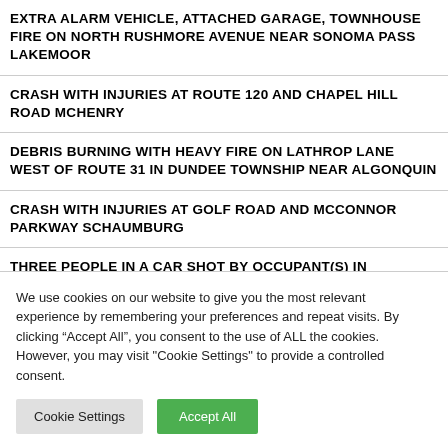EXTRA ALARM VEHICLE, ATTACHED GARAGE, TOWNHOUSE FIRE ON NORTH RUSHMORE AVENUE NEAR SONOMA PASS LAKEMOOR
CRASH WITH INJURIES AT ROUTE 120 AND CHAPEL HILL ROAD MCHENRY
DEBRIS BURNING WITH HEAVY FIRE ON LATHROP LANE WEST OF ROUTE 31 IN DUNDEE TOWNSHIP NEAR ALGONQUIN
CRASH WITH INJURIES AT GOLF ROAD AND MCCONNOR PARKWAY SCHAUMBURG
THREE PEOPLE IN A CAR SHOT BY OCCUPANT(S) IN ANOTHER
We use cookies on our website to give you the most relevant experience by remembering your preferences and repeat visits. By clicking “Accept All”, you consent to the use of ALL the cookies. However, you may visit "Cookie Settings" to provide a controlled consent.